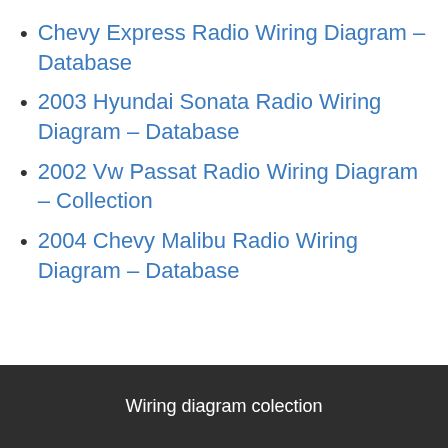Chevy Express Radio Wiring Diagram – Database
2003 Hyundai Sonata Radio Wiring Diagram – Database
2002 Vw Passat Radio Wiring Diagram – Collection
2004 Chevy Malibu Radio Wiring Diagram – Database
Wiring diagram colection